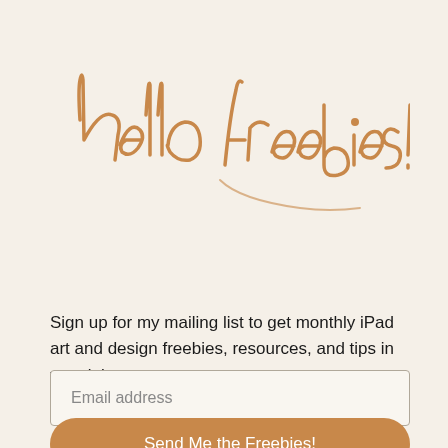hello freebies!
Sign up for my mailing list to get monthly iPad art and design freebies, resources, and tips in your inbox.
Email address
Send Me the Freebies!